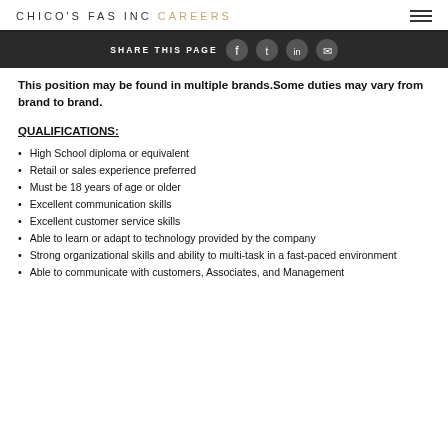CHICO'S FAS INC CAREERS
SHARE THIS PAGE
This position may be found in multiple brands.Some duties may vary from brand to brand.
QUALIFICATIONS:
High School diploma or equivalent
Retail or sales experience preferred
Must be 18 years of age or older
Excellent communication skills
Excellent customer service skills
Able to learn or adapt to technology provided by the company
Strong organizational skills and ability to multi-task in a fast-paced environment
Able to communicate with customers, Associates, and Management